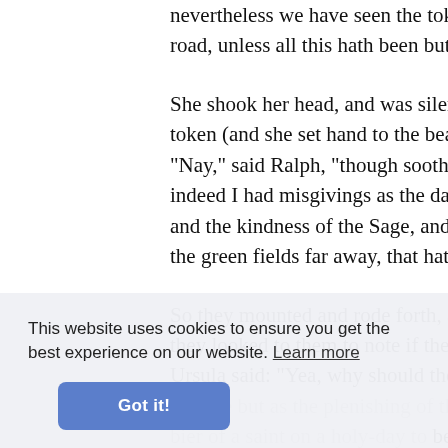nevertheless we have seen the token o road, unless all this hath been but a snar
She shook her head, and was silent a li token (and she set hand to the beads a "Nay," said Ralph, "though sooth to sa indeed I had misgivings as the day grev and the kindness of the Sage, and the lo the green fields far away, that hath brou
So they mounted and rode forth, and sa they looked to them to note if they wo Ursula said: "Yea, why should the Sage that are but as the plenishing of the w bier of a saint on a holy-day to be trodd Forsooth, had they been alive now, wi captivity, it had been another matter: bu
Ra sighed, and said: "Yea, but even lives passed away, so many hopes slain.
This website uses cookies to ensure you get the best experience on our website. Learn more
Got it!